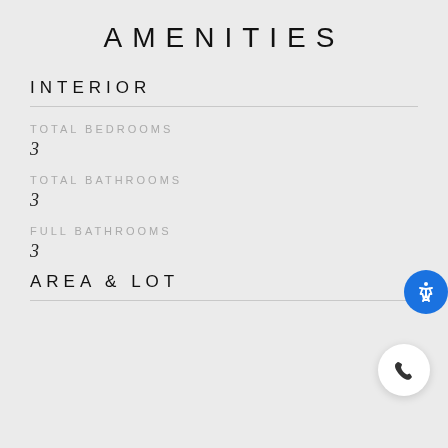AMENITIES
INTERIOR
TOTAL BEDROOMS
3
TOTAL BATHROOMS
3
FULL BATHROOMS
3
AREA & LOT